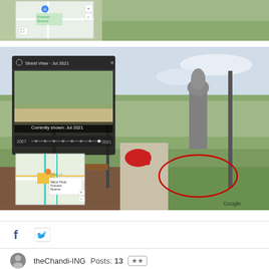[Figure (screenshot): Partial Google Maps / Street View screenshot showing map with 'Melton Public Purposes Reserve' label, vegetation and roadway visible at top]
[Figure (screenshot): Google Street View screenshot of a park/public reserve with a statue on a tall pedestal, red sculpture, park benches, street lights, map inset in bottom-left corner showing 'ANZAC TH Melton Public Purposes Reserve', Street View timeline overlay showing 'Jul 2021', red circle drawn on image highlighting an area on the path/ground]
f  (Twitter bird icon)
theChandi-ING  Posts: 13  ★★